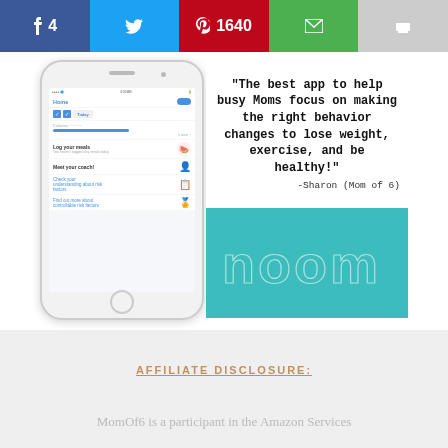[Figure (screenshot): Social share bar with Facebook (4), Twitter, Pinterest (1640), Email, and Print buttons]
[Figure (photo): Noom app promotional image showing a smartphone with the Noom home screen app interface on the left, a quote on the upper right reading: 'The best app to help busy Moms focus on making the right behavior changes to lose weight, exercise, and be healthy!' attributed to Sharon (Mom of 6), and a teal Noom logo panel on the lower right.]
AFFILIATE DISCLOSURE:
MomOf6 is a participant in the Amazon Services